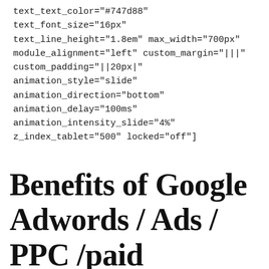text_text_color="#747d88" text_font_size="16px" text_line_height="1.8em" max_width="700px" module_alignment="left" custom_margin="|||" custom_padding="||20px|" animation_style="slide" animation_direction="bottom" animation_delay="100ms" animation_intensity_slide="4%" z_index_tablet="500" locked="off"]
Benefits of Google Adwords / Ads / PPC /paid Campaign...